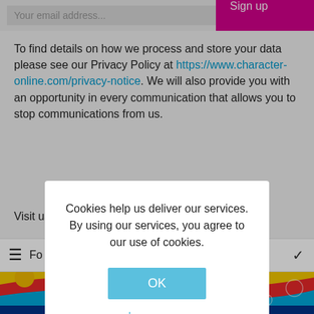[Figure (screenshot): Email signup bar with placeholder text 'Your email address...' and a pink 'Sign up' button]
To find details on how we process and store your data please see our Privacy Policy at https://www.character-online.com/privacy-notice. We will also provide you with an opportunity in every communication that allows you to stop communications from us.
Visit us
Fo
[Figure (screenshot): Cookie consent modal dialog with text: 'Cookies help us deliver our services. By using our services, you agree to our use of cookies.' with an OK button and Learn more link]